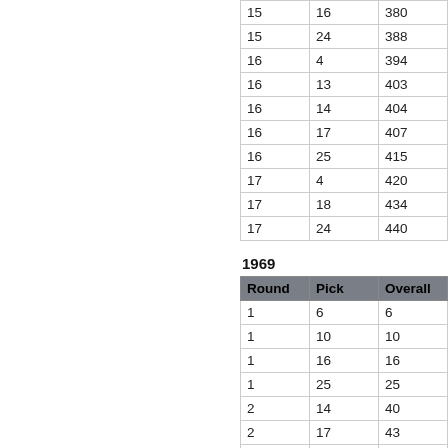| 15 | 16 | 380 |
| 15 | 24 | 388 |
| 16 | 4 | 394 |
| 16 | 13 | 403 |
| 16 | 14 | 404 |
| 16 | 17 | 407 |
| 16 | 25 | 415 |
| 17 | 4 | 420 |
| 17 | 18 | 434 |
| 17 | 24 | 440 |
1969
| Round | Pick | Overall |
| --- | --- | --- |
| 1 | 6 | 6 |
| 1 | 10 | 10 |
| 1 | 16 | 16 |
| 1 | 25 | 25 |
| 2 | 14 | 40 |
| 2 | 17 | 43 |
| 2 | 23 | 49 |
| 3 | 5 | 57 |
| 3 | 7 | 59 |